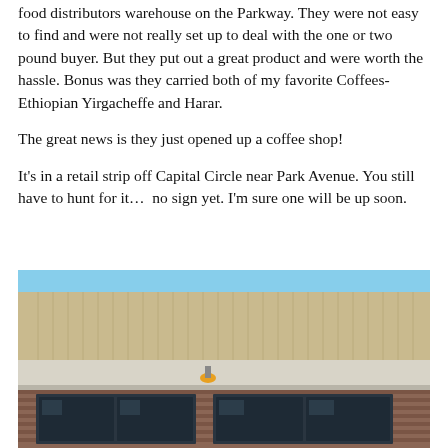food distributors warehouse on the Parkway. They were not easy to find and were not really set up to deal with the one or two pound buyer. But they put out a great product and were worth the hassle. Bonus was they carried both of my favorite Coffees- Ethiopian Yirgacheffe and Harar.
The great news is they just opened up a coffee shop!
It's in a retail strip off Capital Circle near Park Avenue. You still have to hunt for it…  no sign yet. I'm sure one will be up soon.
[Figure (photo): Exterior photo of a retail strip building with tan/beige metal siding on the upper portion, a white horizontal band/awning, and brick on the lower section. Large windows visible at the storefront level. A light fixture is visible under the awning.]